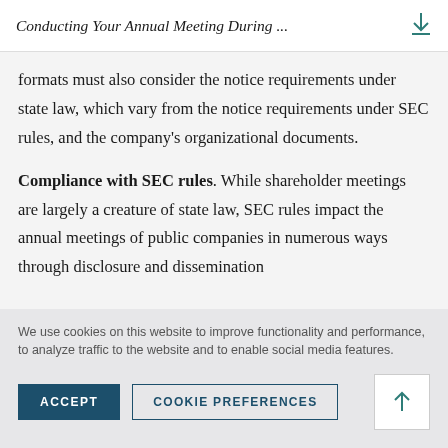Conducting Your Annual Meeting During ...
formats must also consider the notice requirements under state law, which vary from the notice requirements under SEC rules, and the company's organizational documents.
Compliance with SEC rules. While shareholder meetings are largely a creature of state law, SEC rules impact the annual meetings of public companies in numerous ways through disclosure and dissemination
We use cookies on this website to improve functionality and performance, to analyze traffic to the website and to enable social media features.